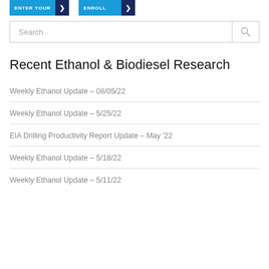[Figure (screenshot): Top navigation banner with two blue/dark-navy buttons with arrows, partially visible at top of page]
Search
Recent Ethanol & Biodiesel Research
Weekly Ethanol Update – 08/05/22
Weekly Ethanol Update – 5/25/22
EIA Drilling Productivity Report Update – May '22
Weekly Ethanol Update – 5/18/22
Weekly Ethanol Update – 5/11/22